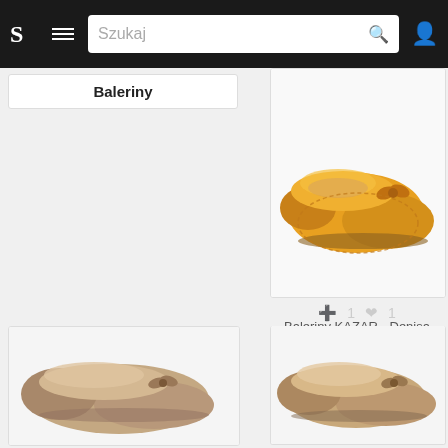S  ≡  Szukaj  🔍  👤
Baleriny
[Figure (photo): Yellow suede ballet flat with bow detail (KAZAR Denisa 24134-02-08 Yellow Baleriny)]
+1  ♥1
Baleriny KAZAR - Denisa 24134-02-08 Yellow Baleriny Kaz…
baleriny
eobuwie.pl  do
Baleriny
[Figure (photo): Brown/beige ballet flat shoe - bottom left thumbnail]
[Figure (photo): Tan/nude ballet flat shoe - bottom right thumbnail]